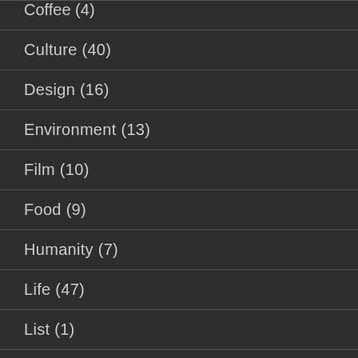Coffee (4)
Culture (40)
Design (16)
Environment (13)
Film (10)
Food (9)
Humanity (7)
Life (47)
List (1)
Music (11)
News (72)
Photography (11)